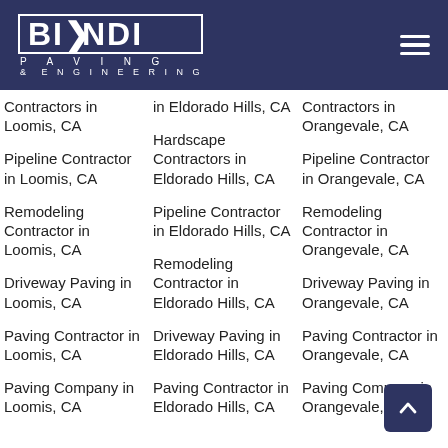[Figure (logo): Biondi Paving & Engineering logo with white text on dark navy background, hamburger menu icon on right]
Contractors in Loomis, CA
Pipeline Contractor in Loomis, CA
Remodeling Contractor in Loomis, CA
Driveway Paving in Loomis, CA
Paving Contractor in Loomis, CA
Paving Company in Loomis, CA
in Eldorado Hills, CA
Hardscape Contractors in Eldorado Hills, CA
Pipeline Contractor in Eldorado Hills, CA
Remodeling Contractor in Eldorado Hills, CA
Driveway Paving in Eldorado Hills, CA
Paving Contractor in Eldorado Hills, CA
Contractors in Orangevale, CA
Pipeline Contractor in Orangevale, CA
Remodeling Contractor in Orangevale, CA
Driveway Paving in Orangevale, CA
Paving Contractor in Orangevale, CA
Paving Company in Orangevale, CA